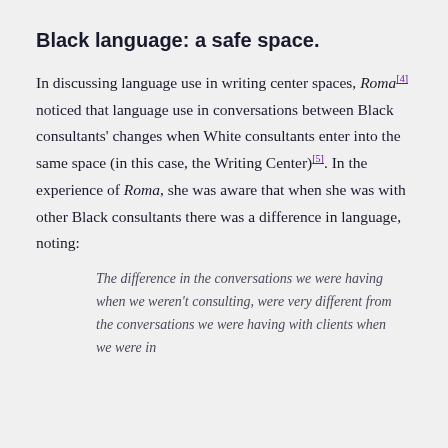Black language: a safe space.
In discussing language use in writing center spaces, Roma[4] noticed that language use in conversations between Black consultants' changes when White consultants enter into the same space (in this case, the Writing Center)[5]. In the experience of Roma, she was aware that when she was with other Black consultants there was a difference in language, noting:
The difference in the conversations we were having when we weren't consulting, were very different from the conversations we were having with clients when we were in